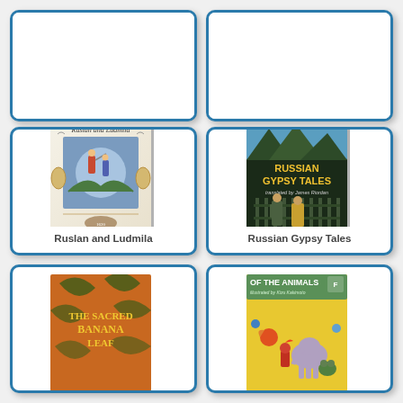[Figure (photo): Top-left partial book card, cut off at top]
[Figure (photo): Top-right partial book card, cut off at top]
[Figure (photo): Book cover: Ruslan and Ludmila by Alexander Pushkin, illustrated fantasy cover]
Ruslan and Ludmila
[Figure (photo): Book cover: Russian Gypsy Tales, translated by James Riordan, illustrated cover with figures]
Russian Gypsy Tales
[Figure (photo): Book cover: The Sacred Banana Leaf, orange cover with leaf pattern]
[Figure (photo): Book cover: Of The Animals, illustrated by Kizu Kakimoto, Fantasia Pictorial, colorful animal cover]